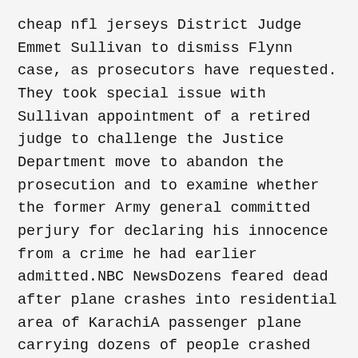cheap nfl jerseys District Judge Emmet Sullivan to dismiss Flynn case, as prosecutors have requested. They took special issue with Sullivan appointment of a retired judge to challenge the Justice Department move to abandon the prosecution and to examine whether the former Army general committed perjury for declaring his innocence from a crime he had earlier admitted.NBC NewsDozens feared dead after plane crashes into residential area of KarachiA passenger plane carrying dozens of people crashed into a residential area of Pakistan largest city, Karachi, early Friday, minutes before it was due to